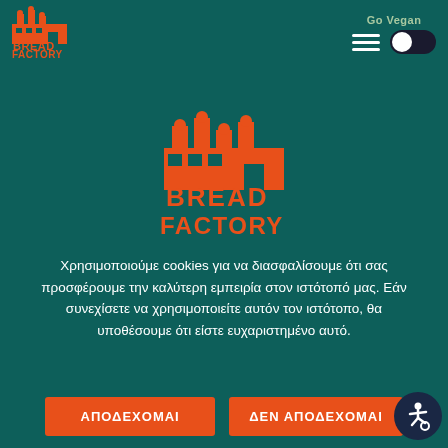[Figure (logo): Bread Factory logo in orange - small version in top-left header]
Go Vegan
[Figure (other): Hamburger menu icon (three white horizontal lines)]
[Figure (other): Toggle switch (dark background with white circle on left)]
[Figure (logo): Bread Factory logo in orange - large centered version with factory building icon above text BREAD FACTORY]
Χρησιμοποιούμε cookies για να διασφαλίσουμε ότι σας προσφέρουμε την καλύτερη εμπειρία στον ιστότοπό μας. Εάν συνεχίσετε να χρησιμοποιείτε αυτόν τον ιστότοπο, θα υποθέσουμε ότι είστε ευχαριστημένο αυτό.
ΑΠΟΔΕΧΟΜΑΙ
ΔΕΝ ΑΠΟΔΕΧΟΜΑΙ